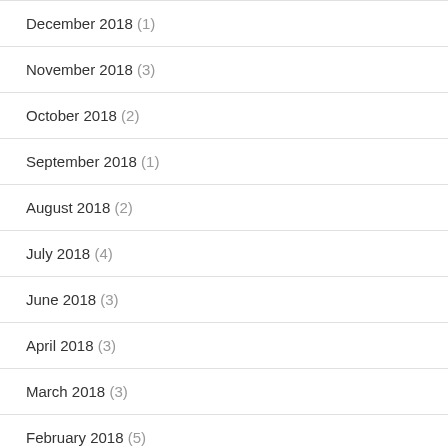December 2018 (1)
November 2018 (3)
October 2018 (2)
September 2018 (1)
August 2018 (2)
July 2018 (4)
June 2018 (3)
April 2018 (3)
March 2018 (3)
February 2018 (5)